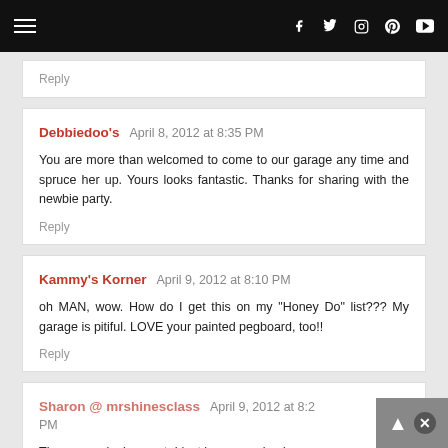Navigation bar with hamburger menu and social icons (Facebook, Twitter, Instagram, Pinterest, YouTube)
Reply
Debbiedoo's  April 8, 2012 at 8:35 PM
You are more than welcomed to come to our garage any time and spruce her up. Yours looks fantastic. Thanks for sharing with the newbie party.
Reply
Kammy's Korner  April 9, 2012 at 8:10 PM
oh MAN, wow. How do I get this on my "Honey Do" list??? My garage is pitiful. LOVE your painted pegboard, too!!
Reply
Sharon @ mrshinesclass  April 9, 2012 at 8:21 PM
The garage looks great. I just love organized spaces